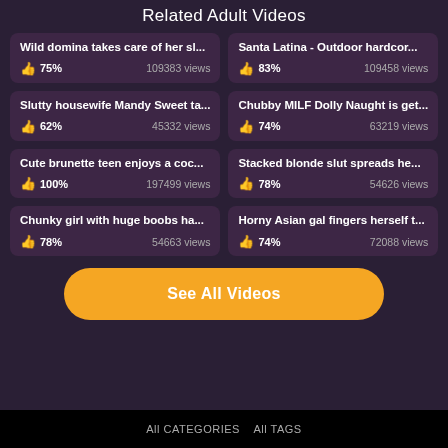Related Adult Videos
Wild domina takes care of her sl... | 75% | 109383 views
Santa Latina - Outdoor hardcor... | 83% | 109458 views
Slutty housewife Mandy Sweet ta... | 62% | 45332 views
Chubby MILF Dolly Naught is get... | 74% | 63219 views
Cute brunette teen enjoys a coc... | 100% | 197499 views
Stacked blonde slut spreads he... | 78% | 54626 views
Chunky girl with huge boobs ha... | 78% | 54663 views
Horny Asian gal fingers herself t... | 74% | 72088 views
See All Videos
All CATEGORIES   All TAGS